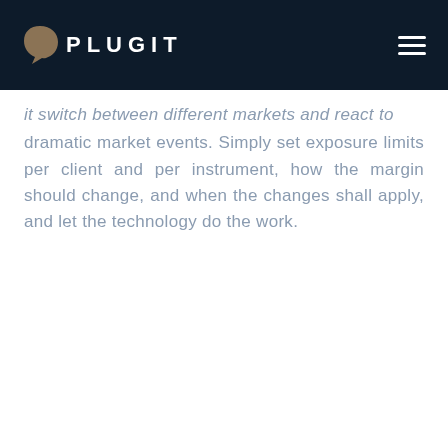PLUGIT
dramatic market events. Simply set exposure limits per client and per instrument, how the margin should change, and when the changes shall apply, and let the technology do the work.